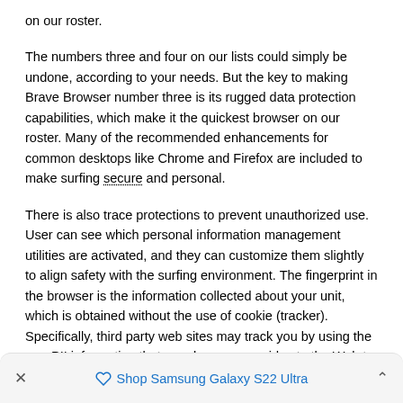on our roster.
The numbers three and four on our lists could simply be undone, according to your needs. But the key to making Brave Browser number three is its rugged data protection capabilities, which make it the quickest browser on our roster. Many of the recommended enhancements for common desktops like Chrome and Firefox are included to make surfing secure and personal.
There is also trace protections to prevent unauthorized use. User can see which personal information management utilities are activated, and they can customize them slightly to align safety with the surfing environment. The fingerprint in the browser is the information collected about your unit, which is obtained without the use of cookie (tracker). Specifically, third party web sites may track you by using the non-PII information that your browser provides to the Web to understand your preferences and trends.
× Shop Samsung Galaxy S22 Ultra ^